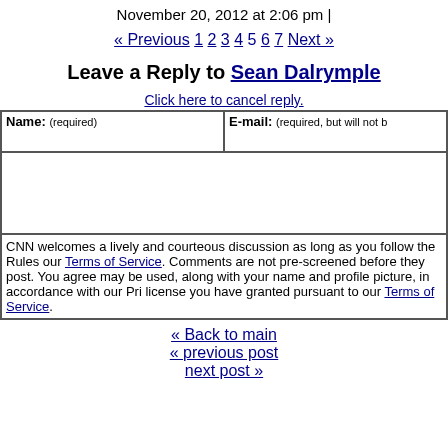November 20, 2012 at 2:06 pm |
« Previous 1 2 3 4 5 6 7 Next »
Leave a Reply to Sean Dalrymple
Click here to cancel reply.
| Name: (required) | E-mail: (required, but will not be published) |
| --- | --- |
|  |   |
CNN welcomes a lively and courteous discussion as long as you follow the Rules our Terms of Service. Comments are not pre-screened before they post. You agree may be used, along with your name and profile picture, in accordance with our Privacy Policy and the license you have granted pursuant to our Terms of Service.
« Back to main
« previous post
next post »